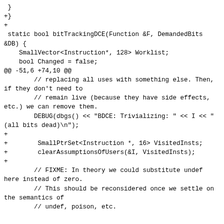}
+}
+
 static bool bitTrackingDCE(Function &F, DemandedBits &DB) {
    SmallVector<Instruction*, 128> Worklist;
    bool Changed = false;
@@ -51,6 +74,10 @@
        // replacing all uses with something else. Then, if they don't need to
        // remain live (because they have side effects, etc.) we can remove them.
        DEBUG(dbgs() << "BDCE: Trivializing: " << I << "(all bits dead)\n");
+
+        SmallPtrSet<Instruction *, 16> VisitedInsts;
+        clearAssumptionsOfUsers(&I, VisitedInsts);
+
        // FIXME: In theory we could substitute undef here instead of zero.
        // This should be reconsidered once we settle on the semantics of
        // undef, poison, etc.
-------------- next part --------------
A non-text attachment was scrubbed...
Name: D36592.110633.patch
Type: text/x-patch
Size: 4063 bytes
Desc: not available.